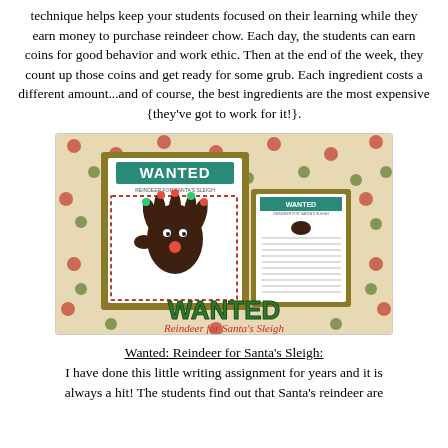technique helps keep your students focused on their learning while they earn money to purchase reindeer chow. Each day, the students can earn coins for good behavior and work ethic. Then at the end of the week, they count up those coins and get ready for some grub. Each ingredient costs a different amount...and of course, the best ingredients are the most expensive {they've got to work for it!}.
[Figure (photo): Photo of a 'Wanted: Reindeer for Santa's Sleigh' classroom activity materials laid out on a polka-dot background. Shows two printed cards/worksheets, one with a handprint reindeer craft labeled 'WANTED', and the text 'WANTED Reindeer for Santa's Sleigh' at the bottom.]
Wanted: Reindeer for Santa's Sleigh:
I have done this little writing assignment for years and it is always a hit! The students find out that Santa's reindeer are